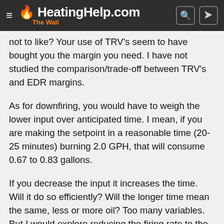HeatingHelp.com — The Wall
not to like? Your use of TRV's seem to have bought you the margin you need. I have not studied the comparison/trade-off between TRV's and EDR margins.
As for downfiring, you would have to weigh the lower input over anticipated time. I mean, if you are making the setpoint in a reasonable time (20-25 minutes) burning 2.0 GPH, that will consume 0.67 to 0.83 gallons.
If you decrease the input it increases the time. Will it do so efficiently? Will the longer time mean the same, less or more oil? Too many variables. But I would explore reducing the firing rate to the least consistent with the boiler recommendation. You have to protect your investment.